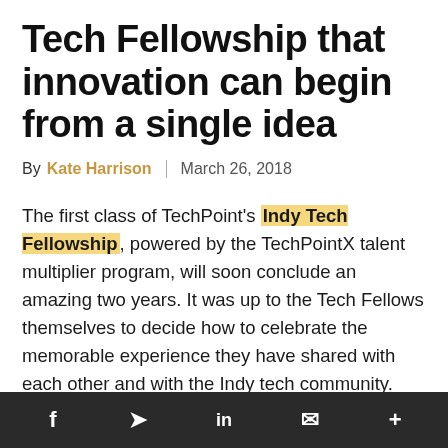Tech Fellowship that innovation can begin from a single idea
By Kate Harrison | March 26, 2018
The first class of TechPoint's Indy Tech Fellowship, powered by the TechPointX talent multiplier program, will soon conclude an amazing two years. It was up to the Tech Fellows themselves to decide how to celebrate the memorable experience they have shared with each other and with the Indy tech community. After two
f  Twitter  in  envelope  +